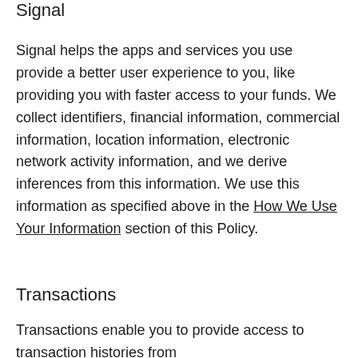Signal
Signal helps the apps and services you use provide a better user experience to you, like providing you with faster access to your funds. We collect identifiers, financial information, commercial information, location information, electronic network activity information, and we derive inferences from this information. We use this information as specified above in the How We Use Your Information section of this Policy.
Transactions
Transactions enable you to provide access to transaction histories from